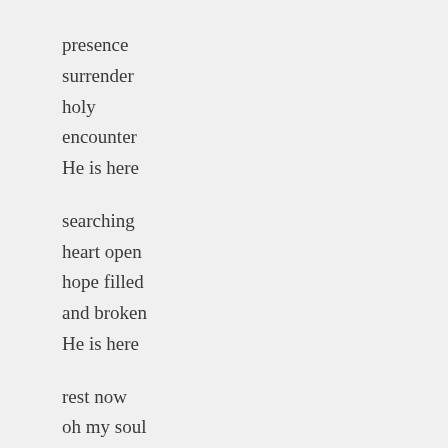presence
surrender
holy
encounter
He is here

searching
heart open
hope filled
and broken
He is here

rest now
oh my soul
let grace fill
the questions
the doubts